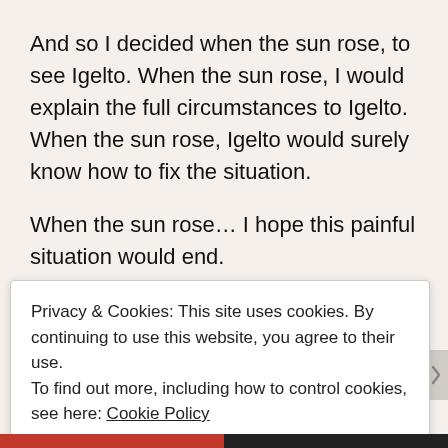And so I decided when the sun rose, to see Igelto. When the sun rose, I would explain the full circumstances to Igelto. When the sun rose, Igelto would surely know how to fix the situation.
When the sun rose… I hope this painful situation would end.
I waited for the sun to rise with such an earnest heart.
Privacy & Cookies: This site uses cookies. By continuing to use this website, you agree to their use.
To find out more, including how to control cookies, see here: Cookie Policy
Close and accept